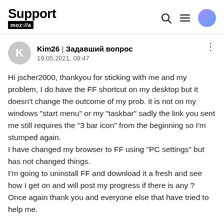Support mozilla//a
Kim26 | Задавший вопрос
19.05.2021, 09:47
Hi jscher2000, thankyou for sticking with me and my problem, I do have the FF shortcut on my desktop but it doesn't change the outcome of my prob. it is not on my windows "start menu" or my "taskbar" sadly the link you sent me still requires the "3 bar icon" from the beginning so I'm stumped again.
I have changed my browser to FF using "PC settings" but has not changed things.
I'm going to uninstall FF and download it a fresh and see how I get on and will post my progress if there is any ?
Once again thank you and everyone else that have tried to help me.